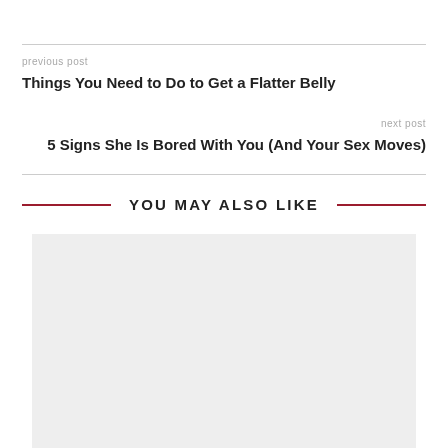previous post
Things You Need to Do to Get a Flatter Belly
next post
5 Signs She Is Bored With You (And Your Sex Moves)
YOU MAY ALSO LIKE
[Figure (photo): Gray placeholder image block]